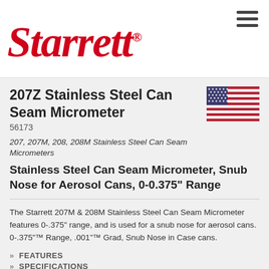[Figure (logo): Starrett red italic logo with registered trademark symbol]
207Z Stainless Steel Can Seam Micrometer
56173
[Figure (illustration): American flag illustration]
207, 207M, 208, 208M Stainless Steel Can Seam Micrometers
Stainless Steel Can Seam Micrometer, Snub Nose for Aerosol Cans, 0-0.375" Range
The Starrett 207M & 208M Stainless Steel Can Seam Micrometer features 0-.375" range, and is used for a snub nose for aerosol cans. 0-.375"™ Range, .001"™ Grad, Snub Nose in Case cans.
» FEATURES
» SPECIFICATIONS